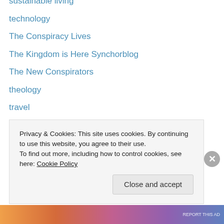sustainable living
technology
The Conspiracy Lives
The Kingdom is Here Synchorblog
The New Conspirators
theology
travel
Uncategorized
videos
What Are We Waiting for This Advent
women's issues
women's rights
work & rest
Worship & liturgy
Privacy & Cookies: This site uses cookies. By continuing to use this website, you agree to their use.
To find out more, including how to control cookies, see here: Cookie Policy
Close and accept